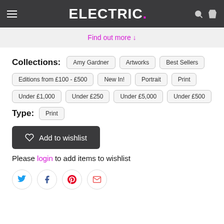ELECTRIC.
Find out more ↓
Collections: Amy Gardner  Artworks  Best Sellers  Editions from £100 - £500  New In!  Portrait  Print  Under £1,000  Under £250  Under £5,000  Under £500
Type: Print
Add to wishlist
Please login to add items to wishlist